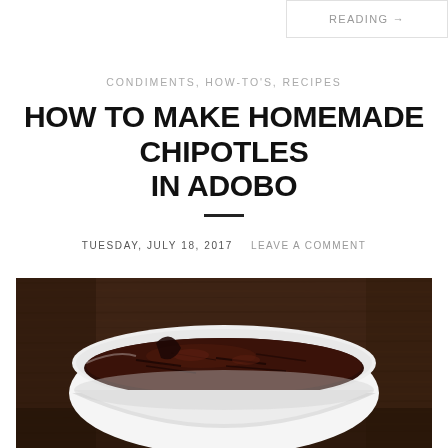READING →
CONDIMENTS, HOW-TO'S, RECIPES
HOW TO MAKE HOMEMADE CHIPOTLES IN ADOBO
TUESDAY, JULY 18, 2017   LEAVE A COMMENT
[Figure (photo): Overhead shot of a white ceramic bowl filled with dark brown chipotle peppers in adobo sauce, set on a rustic dark wood surface.]